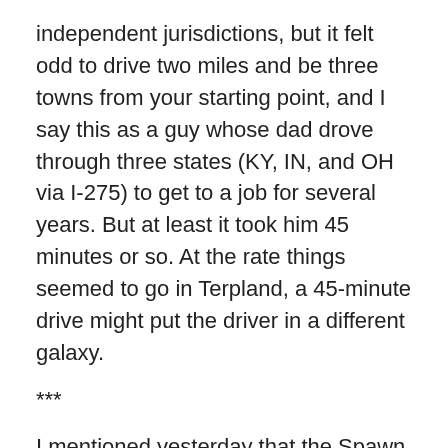independent jurisdictions, but it felt odd to drive two miles and be three towns from your starting point, and I say this as a guy whose dad drove through three states (KY, IN, and OH via I-275) to get to a job for several years. But at least it took him 45 minutes or so. At the rate things seemed to go in Terpland, a 45-minute drive might put the driver in a different galaxy.
***
I mentioned yesterday that the Spawn made her first visit to the MVA (Maryland's version of the DMV, because that acronym seems to refer to the District, Maryland, and Virginia). As I said, the supervisor was quite nice, but there was an amusing sidelight to the whole business.
A state cop was there at the office, and was the first